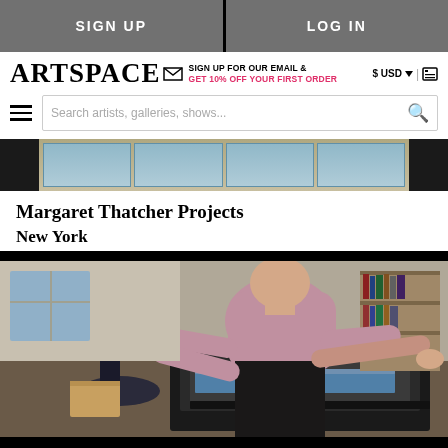SIGN UP | LOG IN
[Figure (screenshot): Artspace website navigation header with logo, email signup promo, USD currency selector, search bar]
[Figure (photo): Partial view of artwork or gallery interior showing windows]
Margaret Thatcher Projects
New York
[Figure (photo): Person in pink/mauve t-shirt working at a large printing press or flatbed printer in a studio/workshop environment with shelves of books and supplies in background]